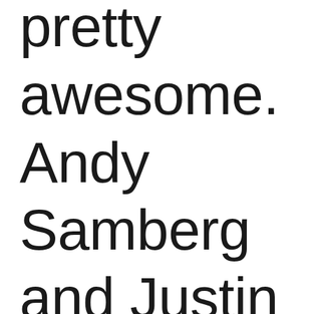pretty awesome. Andy Samberg and Justin Timberlake.